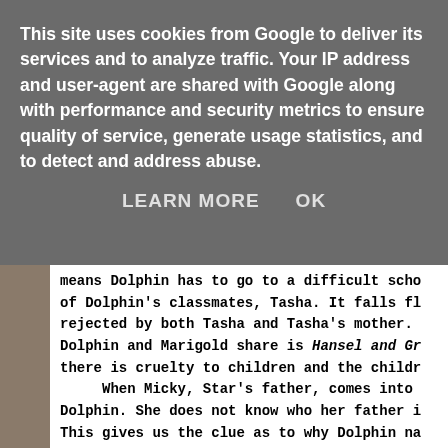This site uses cookies from Google to deliver its services and to analyze traffic. Your IP address and user-agent are shared with Google along with performance and security metrics to ensure quality of service, generate usage statistics, and to detect and address abuse.
LEARN MORE   OK
means Dolphin has to go to a difficult scho of Dolphin's classmates, Tasha. It falls fl rejected by both Tasha and Tasha's mother. Dolphin and Marigold share is Hansel and Gr there is cruelty to children and the childr When Micky, Star's father, comes into Dolphin. She does not know who her father i This gives us the clue as to why Dolphin na outsider and it is painful. Surely even the Marigold's behalf when Star's father Micky to Brighton but not for Marigold. It become however. Because Marigold has to stay at ho Dolphin.